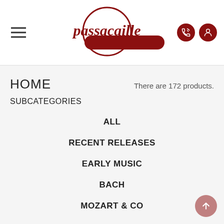[Figure (logo): Passacaille music store logo — red circle with cursive 'passacaille' text and a dark red pill/bar shape below]
HOME
There are 172 products.
SUBCATEGORIES
ALL
RECENT RELEASES
EARLY MUSIC
BACH
MOZART & CO